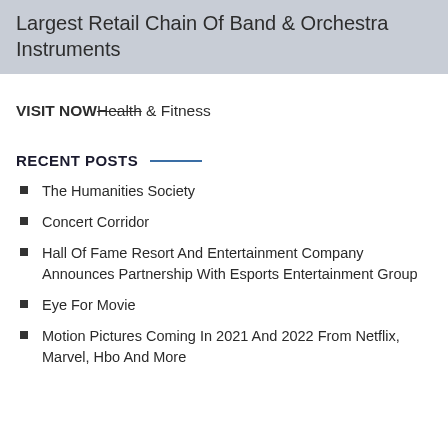Largest Retail Chain Of Band & Orchestra Instruments
VISIT NOW Health & Fitness
RECENT POSTS
The Humanities Society
Concert Corridor
Hall Of Fame Resort And Entertainment Company Announces Partnership With Esports Entertainment Group
Eye For Movie
Motion Pictures Coming In 2021 And 2022 From Netflix, Marvel, Hbo And More